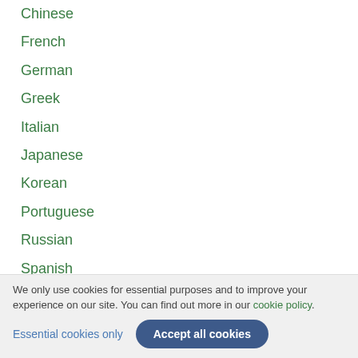Chinese
French
German
Greek
Italian
Japanese
Korean
Portuguese
Russian
Spanish
Document structure
Sections and chapters
We only use cookies for essential purposes and to improve your experience on our site. You can find out more in our cookie policy.
Essential cookies only
Accept all cookies